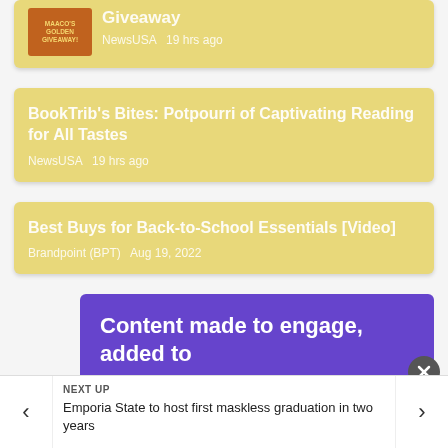[Figure (screenshot): News card with thumbnail image showing Maaco's Golden Giveaway promotional image, with title text partially cut off at top]
NewsUSA  19 hrs ago
BookTrib's Bites: Potpourri of Captivating Reading for All Tastes
NewsUSA  19 hrs ago
Best Buys for Back-to-School Essentials [Video]
Brandpoint (BPT)  Aug 19, 2022
Content made to engage, added to
NEXT UP
Emporia State to host first maskless graduation in two years